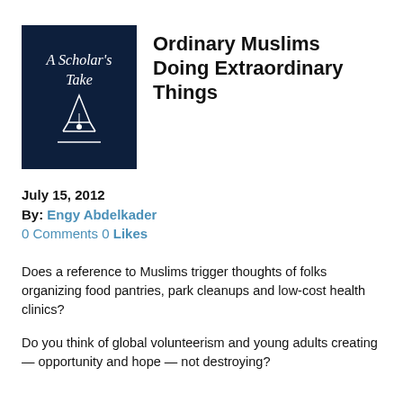[Figure (illustration): Book cover with dark navy blue background showing 'A Scholar's Take' text in italic white font and a decorative pen nib illustration in white]
Ordinary Muslims Doing Extraordinary Things
July 15, 2012
By: Engy Abdelkader
0 Comments 0 Likes
Does a reference to Muslims trigger thoughts of folks organizing food pantries, park cleanups and low-cost health clinics?
Do you think of global volunteerism and young adults creating — opportunity and hope — not destroying?